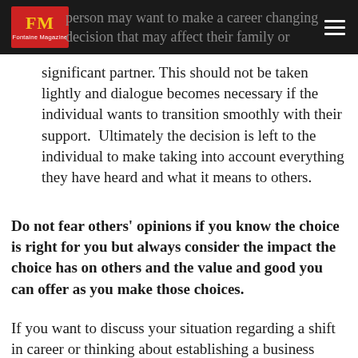FM Fontaine Magazine — person may want to make a career changing decision that may affect their family or
significant partner. This should not be taken lightly and dialogue becomes necessary if the individual wants to transition smoothly with their support.  Ultimately the decision is left to the individual to make taking into account everything they have heard and what it means to others.
Do not fear others' opinions if you know the choice is right for you but always consider the impact the choice has on others and the value and good you can offer as you make those choices.
If you want to discuss your situation regarding a shift in career or thinking about establishing a business contact me below.